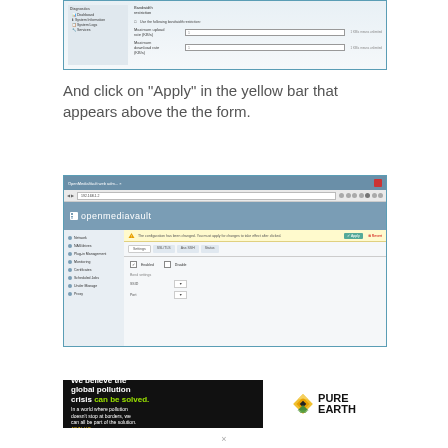[Figure (screenshot): Screenshot of a Windows settings dialog showing bandwidth restriction options with input fields for maximum upload and download rates]
And click on "Apply" in the yellow bar that appears above the the form.
[Figure (screenshot): Screenshot of OpenMediaVault web interface showing the browser with address bar, openmediavault logo header, sidebar navigation, and a yellow notification bar with Apply button]
[Figure (other): Advertisement banner for Pure Earth: 'We believe the global pollution crisis can be solved. In a world where pollution doesn't stop at borders, we can all be part of the solution. JOIN US.' with Pure Earth logo]